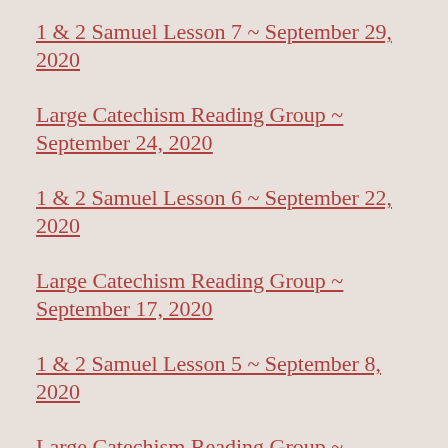1 & 2 Samuel Lesson 7 ~ September 29, 2020
Large Catechism Reading Group ~ September 24, 2020
1 & 2 Samuel Lesson 6 ~ September 22, 2020
Large Catechism Reading Group ~ September 17, 2020
1 & 2 Samuel Lesson 5 ~ September 8, 2020
Large Catechism Reading Group ~ September 4, 2020
1 & 2 Samuel Lesson 4 ~ September 1, 2020